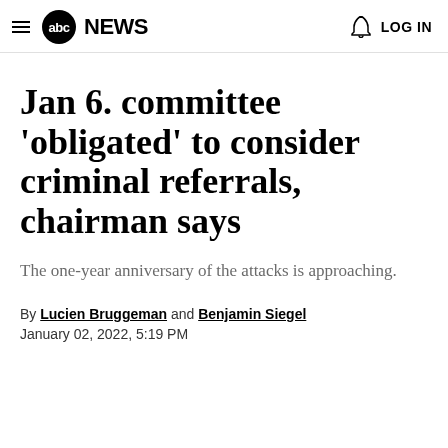abc NEWS  LOG IN
Jan 6. committee 'obligated' to consider criminal referrals, chairman says
The one-year anniversary of the attacks is approaching.
By Lucien Bruggeman and Benjamin Siegel
January 02, 2022, 5:19 PM